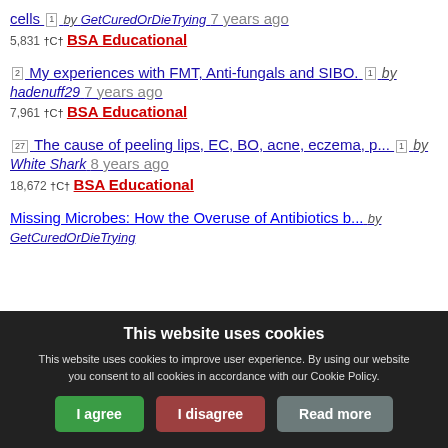cells [1] by GetCuredOrDieTrying 7 years ago 5,831 †C† BSA Educational
[2] My experiences with FMT, Anti-fungals and SIBO. [1] by hadenuff29 7 years ago 7,961 †C† BSA Educational
[27] The cause of peeling lips, EC, BO, acne, eczema, p... [1] by White Shark 8 years ago 18,672 †C† BSA Educational
Missing Microbes: How the Overuse of Antibiotics by GetCuredOrDieTrying 8...
This website uses cookies. This website uses cookies to improve user experience. By using our website you consent to all cookies in accordance with our Cookie Policy.